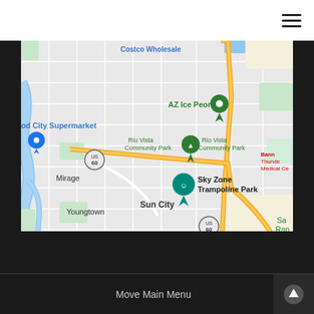[Figure (map): Google Maps screenshot showing Peoria/Sun City area in Arizona. Visible landmarks include AZ Ice Peoria with a green map pin, Rio Vista Community Park with a green tree pin, Sky Zone Trampoline Park with a teal pin, Good City Supermarket (partially visible), Youngtown, Sun City, Peoria labels, Banner Thunderbird Medical Center (partially visible), Route 60 highway shown twice, and Costco Wholesale (partially visible at top). Blue river/canal visible on left side. Yellow roads indicate major highways.]
Move Main Menu